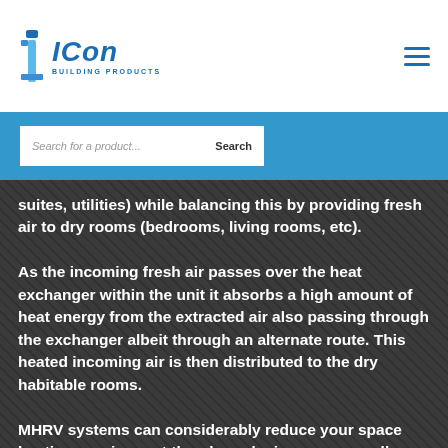[Figure (logo): Icon Building Products logo with blue 'i' icon and bold italic 'ICON' text]
[Figure (other): Hamburger menu icon (three horizontal blue lines)]
Search for a product...
suites, utilities) while balancing this by providing fresh air to dry rooms (bedrooms, living rooms, etc). As the incoming fresh air passes over the heat exchanger within the unit it absorbs a high amount of heat energy from the extracted air also passing through the exchanger albeit through an alternate route. This heated incoming air is then distributed to the dry habitable rooms. MHRV systems can considerably reduce your space heating requirement thereby reducing your overall energy demand while at the same time